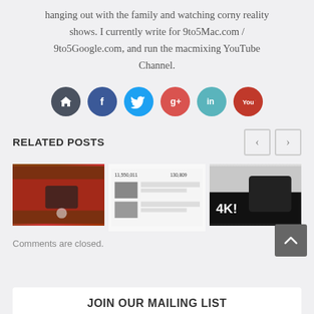hanging out with the family and watching corny reality shows. I currently write for 9to5Mac.com / 9to5Google.com, and run the macmixing YouTube Channel.
[Figure (infographic): Row of 6 social media icon circles: home (dark gray), Facebook (blue), Twitter (light blue), Google+ (red), LinkedIn (teal), YouTube (red)]
RELATED POSTS
[Figure (photo): Three related post thumbnail images side by side]
Comments are closed.
[Figure (infographic): Scroll-to-top button (dark gray square with up arrow chevron)]
JOIN OUR MAILING LIST